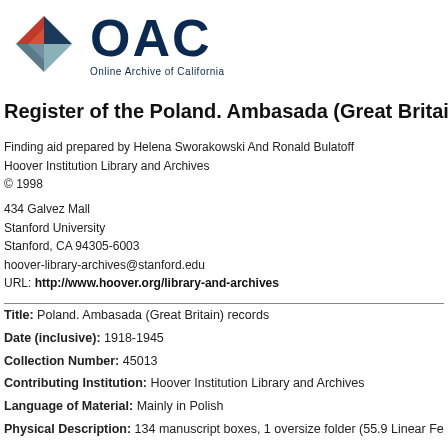[Figure (logo): OAC Online Archive of California logo with geometric diamond shape in red, dark blue, and teal, and large dark blue OAC text]
Register of the Poland. Ambasada (Great Britain) rec
Finding aid prepared by Helena Sworakowski And Ronald Bulatoff
Hoover Institution Library and Archives
© 1998
434 Galvez Mall
Stanford University
Stanford, CA 94305-6003
hoover-library-archives@stanford.edu
URL: http://www.hoover.org/library-and-archives
Title: Poland. Ambasada (Great Britain) records
Date (inclusive): 1918-1945
Collection Number: 45013
Contributing Institution: Hoover Institution Library and Archives
Language of Material: Mainly in Polish
Physical Description: 134 manuscript boxes, 1 oversize folder (55.9 Linear Fe